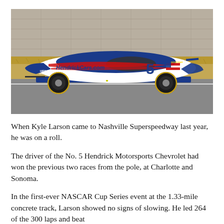[Figure (photo): A NASCAR Cup Series race car number 5 with HendrickCars.com livery in blue, white and red, driven by Kyle Larson, shown from the side on a race track. The car has 'HIRING TECHNICIANS' on the door and Goodyear tires. Background shows a concrete wall and dry grass/hay.]
When Kyle Larson came to Nashville Superspeedway last year, he was on a roll.
The driver of the No. 5 Hendrick Motorsports Chevrolet had won the previous two races from the pole, at Charlotte and Sonoma.
In the first-ever NASCAR Cup Series event at the 1.33-mile concrete track, Larson showed no signs of slowing. He led 264 of the 300 laps and beat